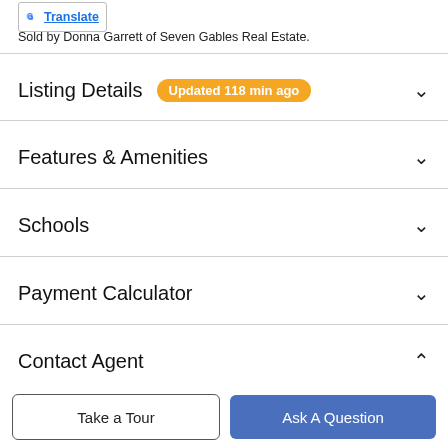[Figure (logo): Google Translate badge with G logo and underlined Translate link]
Sold by Donna Garrett of Seven Gables Real Estate.
Listing Details Updated 118 min ago
Features & Amenities
Schools
Payment Calculator
Contact Agent
[Figure (photo): Circular agent profile photo showing two people]
Take a Tour
Ask A Question